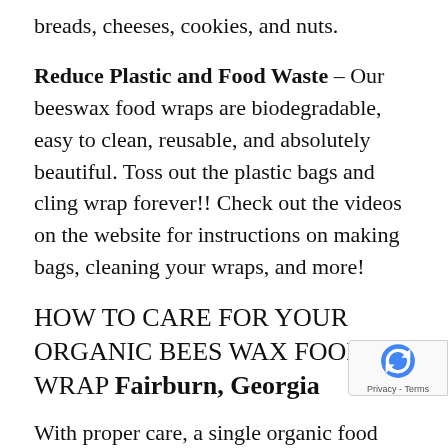breads, cheeses, cookies, and nuts.
Reduce Plastic and Food Waste – Our beeswax food wraps are biodegradable, easy to clean, reusable, and absolutely beautiful. Toss out the plastic bags and cling wrap forever!! Check out the videos on the website for instructions on making bags, cleaning your wraps, and more!
HOW TO CARE FOR YOUR ORGANIC BEES WAX FOOD WRAP Fairburn, Georgia
With proper care, a single organic food wrap will last up to two years. Cold water and mild soap are all you need to clean and maintain your natural food wrap. After rinsing, hang over a